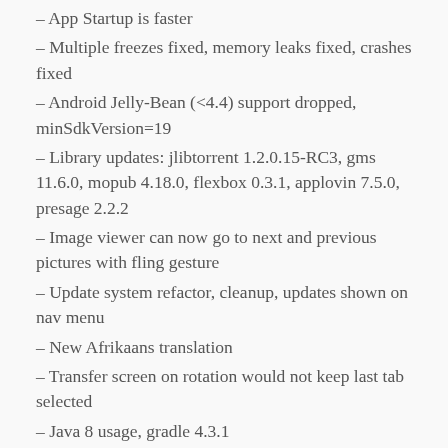– App Startup is faster
– Multiple freezes fixed, memory leaks fixed, crashes fixed
– Android Jelly-Bean (<4.4) support dropped, minSdkVersion=19
– Library updates: jlibtorrent 1.2.0.15-RC3, gms 11.6.0, mopub 4.18.0, flexbox 0.3.1, applovin 7.5.0, presage 2.2.2
– Image viewer can now go to next and previous pictures with fling gesture
– Update system refactor, cleanup, updates shown on nav menu
– New Afrikaans translation
– Transfer screen on rotation would not keep last tab selected
– Java 8 usage, gradle 4.3.1
– compileSDKVersion 27, support libraries